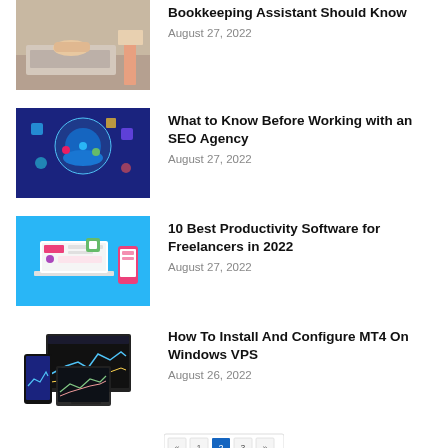[Figure (photo): Person typing on keyboard at a desk with documents]
Bookkeeping Assistant Should Know
August 27, 2022
[Figure (illustration): Blue digital illustration of people working around a table with technology icons]
What to Know Before Working with an SEO Agency
August 27, 2022
[Figure (illustration): Blue background illustration of productivity software/app interfaces on devices]
10 Best Productivity Software for Freelancers in 2022
August 27, 2022
[Figure (screenshot): MT4 trading platform displayed on phone, tablet and monitor devices]
How To Install And Configure MT4 On Windows VPS
August 26, 2022